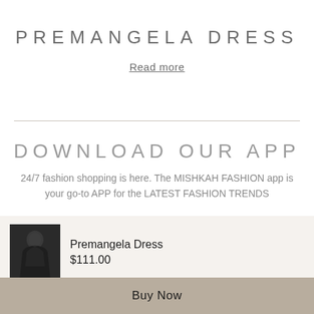PREMANGELA DRESS
Read more
DOWNLOAD OUR APP
24/7 fashion shopping is here. The MISHKAH FASHION app is your go-to APP for the LATEST FASHION TRENDS
[Figure (photo): Small thumbnail image of a black Premangela Dress on a model]
Premangela Dress
$111.00
M
Buy Now